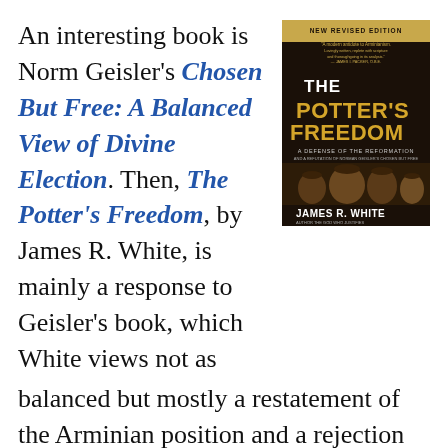An interesting book is Norm Geisler's Chosen But Free: A Balanced View of Divine Election. Then, The Potter's Freedom, by James R. White, is mainly a response to Geisler's book, which White views not as balanced but mostly a restatement of the Arminian position and a rejection of the major tenets of Calvinism. The most recent versions of Geisler's book include an appendix with his response to White's critique.
[Figure (illustration): Book cover of 'The Potter's Freedom: A Defense of the Reformation' by James R. White, New Revised Edition. Dark cover with golden title text and image of pottery vessels.]